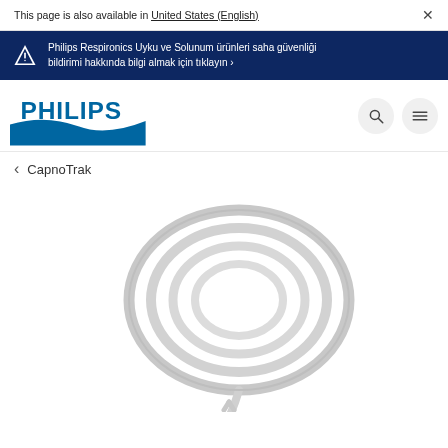This page is also available in United States (English) ×
Philips Respironics Uyku ve Solunum ürünleri saha güvenliği bildirimi hakkında bilgi almak için tıklayın ›
[Figure (logo): Philips logo — blue shield shape with PHILIPS wordmark in blue]
< CapnoTrak
[Figure (photo): Coiled clear/white medical tubing (capnography sampling line) with nasal cannula connector at bottom, on white background]